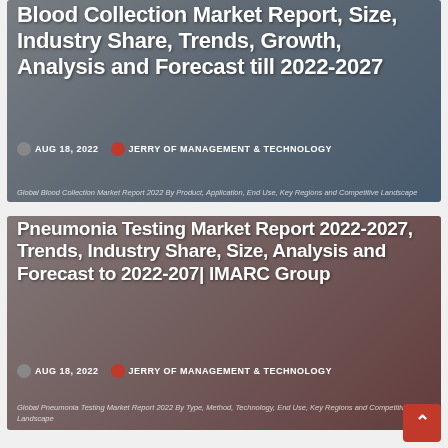[Figure (photo): Card 1: Blood Collection Market Report article card with dark medical background image showing blood collection tubes. White bold title text overlaid.]
Blood Collection Market Report, Size, Industry Share, Trends, Growth, Analysis and Forecast till 2022-2027
AUG 18, 2022   JERRY OF MANAGEMENT & TECHNOLOGY
Global Blood Collection Market Report 2022 By Product, Application, End Use, Key Regions and Competitive Landscape
[Figure (photo): Card 2: Pneumonia Testing Market Report article card with dark medical background image showing blood test tubes. White bold title text overlaid.]
Pneumonia Testing Market Report 2022-2027, Trends, Industry Share, Size, Analysis and Forecast to 2022-207| IMARC Group
AUG 18, 2022   JERRY OF MANAGEMENT & TECHNOLOGY
Global Pneumonia Testing Market Report 2022 By Type, Method, Technology, End Use, Key Regions and Competitive Landscape